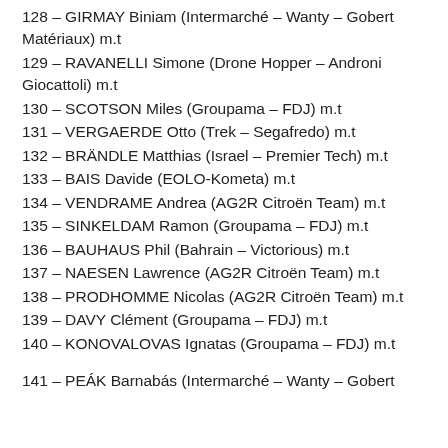128 – GIRMAY Biniam (Intermarché – Wanty – Gobert Matériaux) m.t
129 – RAVANELLI Simone (Drone Hopper – Androni Giocattoli) m.t
130 – SCOTSON Miles (Groupama – FDJ) m.t
131 – VERGAERDE Otto (Trek – Segafredo) m.t
132 – BRÄNDLE Matthias (Israel – Premier Tech) m.t
133 – BAIS Davide (EOLO-Kometa) m.t
134 – VENDRAME Andrea (AG2R Citroën Team) m.t
135 – SINKELDAM Ramon (Groupama – FDJ) m.t
136 – BAUHAUS Phil (Bahrain – Victorious) m.t
137 – NAESEN Lawrence (AG2R Citroën Team) m.t
138 – PRODHOMME Nicolas (AG2R Citroën Team) m.t
139 – DAVY Clément (Groupama – FDJ) m.t
140 – KONOVALOVAS Ignatas (Groupama – FDJ) m.t
141 – PEÁK Barnabás (Intermarché – Wanty – Gobert